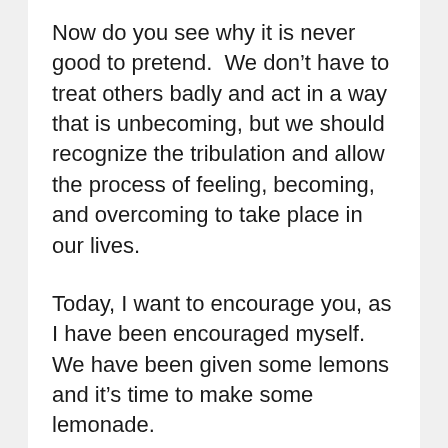Now do you see why it is never good to pretend. We don’t have to treat others badly and act in a way that is unbecoming, but we should recognize the tribulation and allow the process of feeling, becoming, and overcoming to take place in our lives.
Today, I want to encourage you, as I have been encouraged myself. We have been given some lemons and it’s time to make some lemonade.
Sometimes, you may not know how to feel, what to think, or how to act, but continue to trust God. He knew what would happen and He has something great prepared for you in the end. Press on knowing that all things...